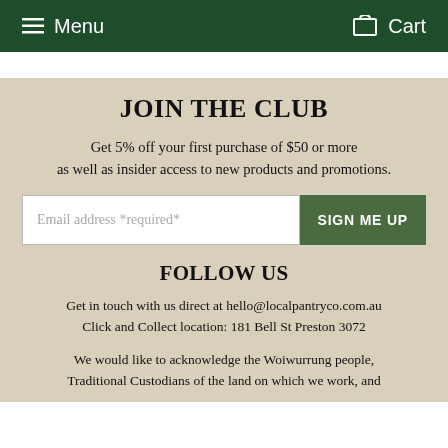Menu    Cart
JOIN THE CLUB
Get 5% off your first purchase of $50 or more as well as insider access to new products and promotions.
Email address *required*   SIGN ME UP
FOLLOW US
Get in touch with us direct at hello@localpantryco.com.au
Click and Collect location: 181 Bell St Preston 3072
We would like to acknowledge the Woiwurrung people, Traditional Custodians of the land on which we work, and